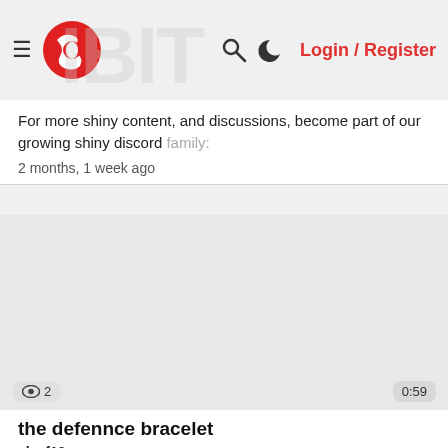Login / Register
For more shiny content, and discussions, become part of our growing shiny discord family:
2 months, 1 week ago
[Figure (screenshot): Video thumbnail placeholder (gray empty area) with view count badge showing eye icon and 2 views, and duration badge showing 0:59]
the defennce bracelet
elsaf12
Click here for more details about the defense bracelet